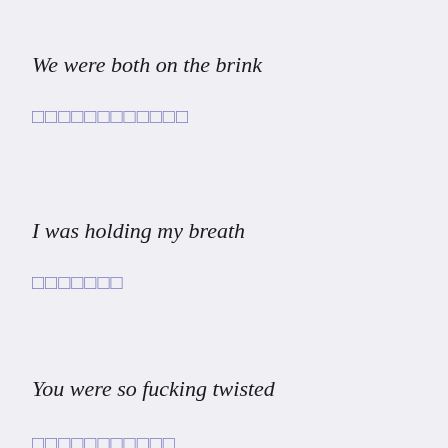We were both on the brink
□□□□□□□□□□□□
I was holding my breath
□□□□□□□
You were so fucking twisted
□□□□□□□□□□□
And it's hard to be indifferent